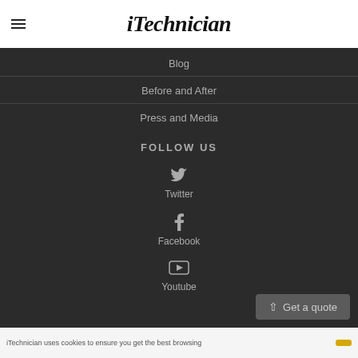iTechnician
Blog
Before and After
Press and Media
FOLLOW US
Twitter
Facebook
Youtube
Get a quote
iTechnician uses cookies to ensure you get the best browsing